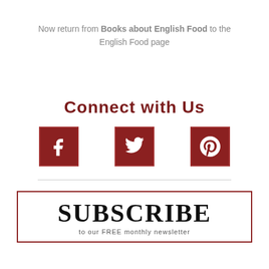Now return from Books about English Food to the English Food page
Connect with Us
[Figure (infographic): Three social media icons: Facebook (f), Twitter (bird), Pinterest (P), each in a dark red square button]
[Figure (infographic): Subscribe box with large serif SUBSCRIBE text and FREE monthly newsletter text below]